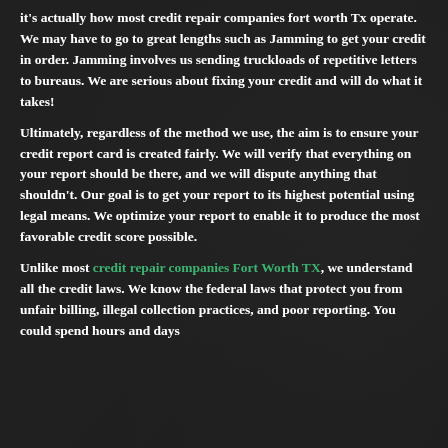it's actually how most credit repair companies fort worth Tx operate. We may have to go to great lengths such as Jamming to get your credit in order. Jamming involves us sending truckloads of repetitive letters to bureaus. We are serious about fixing your credit and will do what it takes!
Ultimately, regardless of the method we use, the aim is to ensure your credit report card is created fairly. We will verify that everything on your report should be there, and we will dispute anything that shouldn't. Our goal is to get your report to its highest potential using legal means. We optimize your report to enable it to produce the most favorable credit score possible.
Unlike most credit repair companies Fort Worth TX, we understand all the credit laws. We know the federal laws that protect you from unfair billing, illegal collection practices, and poor reporting. You could spend hours and days